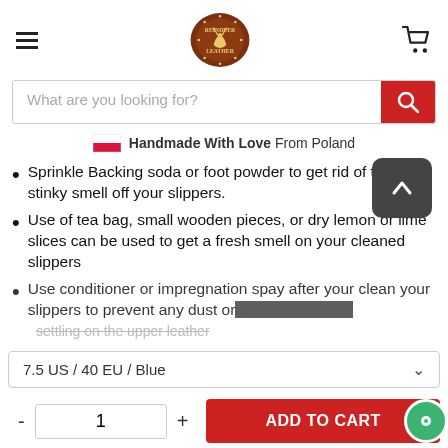Reindeer Leather logo, hamburger menu, cart icon
What are you looking for?
Handmade With Love From Poland
Sprinkle Backing soda or foot powder to get rid of the stinky smell off your slippers.
Use of tea bag, small wooden pieces, or dry lemon or lime slices can be used to get a fresh smell on your cleaned slippers
Use conditioner or impregnation spay after your clean your slippers to prevent any dust or dirt settling on the upper leather
7.5 US / 40 EU / Blue
ADD TO CART